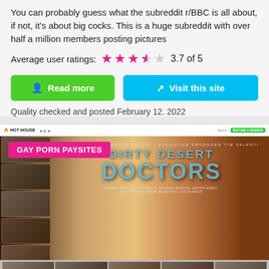You can probably guess what the subreddit r/BBC is all about, if not, it's about big cocks. This is a huge subreddit with over half a million members posting pictures
Average user ratings: 3.7 of 5
Read more
Visit this site
Quality checked and posted February 12. 2022
[Figure (screenshot): Screenshot of Hot House website showing 'Dirty Desert Doctors' movie with a pink badge reading 'GAY PORN PAYSITES']